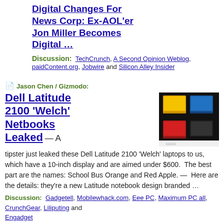Digital Changes For News Corp: Ex-AOL'er Jon Miller Becomes Digital …
Discussion: TechCrunch, A Second Opinion Weblog, paidContent.org, Jobwire and Silicon Alley Insider
📄 Jason Chen / Gizmodo:
Dell Latitude 2100 'Welch' Netbooks Leaked
[Figure (photo): Photo of Dell Latitude 2100 netbooks in multiple colors: yellow/orange, blue, red, and black/dark, stacked in a 2x2 arrangement on a white background.]
— A tipster just leaked these Dell Latitude 2100 'Welch' laptops to us, which have a 10-inch display and are aimed under $600.  The best part are the names: School Bus Orange and Red Apple.  —  Here are the details: they're a new Latitude notebook design branded …
Discussion: Gadgetell, Mobilewhack.com, Eee PC, Maximum PC all, CrunchGear, Liliputing and Engadget